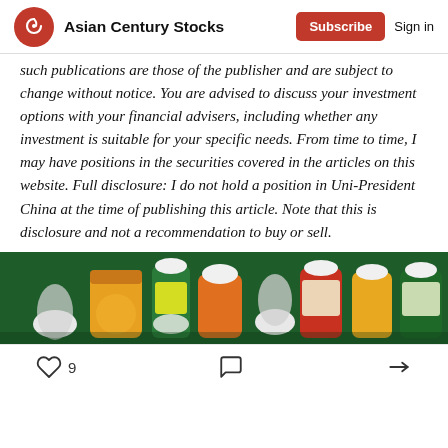Asian Century Stocks
such publications are those of the publisher and are subject to change without notice. You are advised to discuss your investment options with your financial advisers, including whether any investment is suitable for your specific needs. From time to time, I may have positions in the securities covered in the articles on this website. Full disclosure: I do not hold a position in Uni-President China at the time of publishing this article. Note that this is disclosure and not a recommendation to buy or sell.
[Figure (photo): Photo of beverage bottles arranged on a green surface, showing various tea/drink products with yellow and red labels]
9 likes, comment, share icons